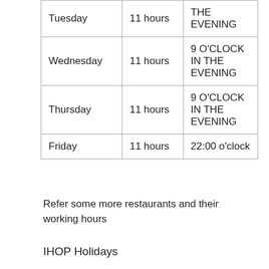| Tuesday | 11 hours | THE EVENING |
| Wednesday | 11 hours | 9 O'CLOCK IN THE EVENING |
| Thursday | 11 hours | 9 O'CLOCK IN THE EVENING |
| Friday | 11 hours | 22:00 o'clock |
Refer some more restaurants and their working hours
IHOP Holidays